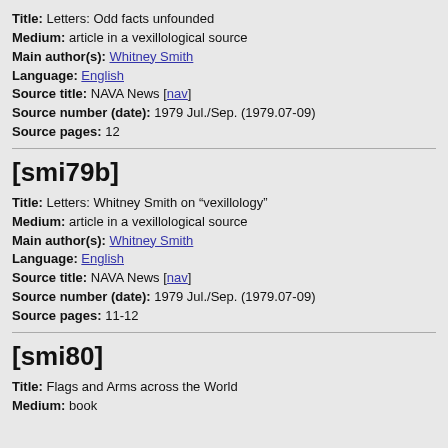Title: Letters: Odd facts unfounded
Medium: article in a vexillological source
Main author(s): Whitney Smith
Language: English
Source title: NAVA News [nav]
Source number (date): 1979 Jul./Sep. (1979.07-09)
Source pages: 12
[smi79b]
Title: Letters: Whitney Smith on “vexillology”
Medium: article in a vexillological source
Main author(s): Whitney Smith
Language: English
Source title: NAVA News [nav]
Source number (date): 1979 Jul./Sep. (1979.07-09)
Source pages: 11-12
[smi80]
Title: Flags and Arms across the World
Medium: book